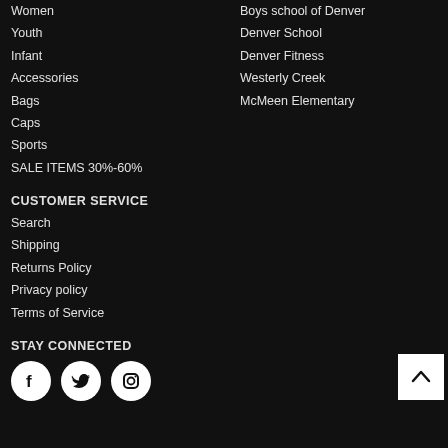Women
Youth
Infant
Accessories
Bags
Caps
Sports
SALE ITEMS 30%-60%
Boys school of Denver
Denver School
Denver Fitness
Westerly Creek
McMeen Elementary
CUSTOMER SERVICE
Search
Shipping
Returns Policy
Privacy policy
Terms of Service
STAY CONNECTED
[Figure (illustration): Social media icons: Facebook, Twitter, Instagram in white circles on dark background]